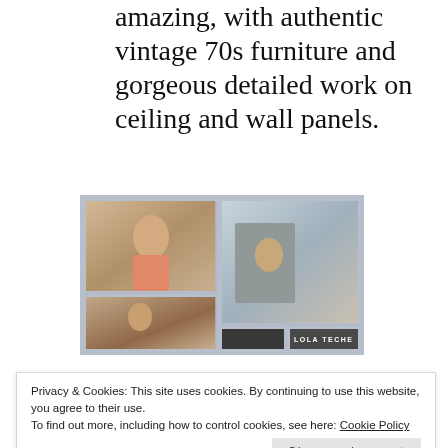amazing, with authentic vintage 70s furniture and gorgeous detailed work on ceiling and wall panels.
[Figure (photo): Photo collage showing multiple images of a woman in a vintage-decorated interior space. Bottom right cell shows text 'LOLA TECHE'.]
Privacy & Cookies: This site uses cookies. By continuing to use this website, you agree to their use.
To find out more, including how to control cookies, see here: Cookie Policy
Close and accept